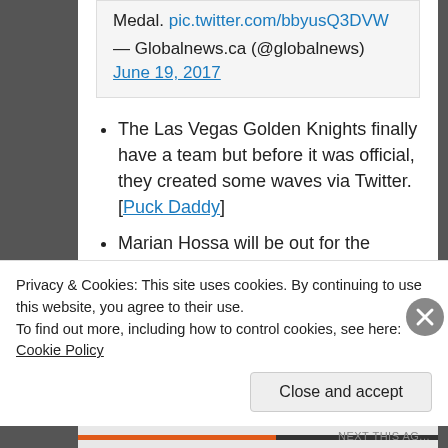Medal. pic.twitter.com/bbyusQ3DVW
— Globalnews.ca (@globalnews)
June 19, 2017
The Las Vegas Golden Knights finally have a team but before it was official, they created some waves via Twitter. [Puck Daddy]
Marian Hossa will be out for the upcoming season due to complications associated with a skin condition that he has been dealing with for the past few years. [Daily Herald]
Canadians continue to oppose public subsidies of private stadiums. [Sportsnet]
Privacy & Cookies: This site uses cookies. By continuing to use this website, you agree to their use.
To find out more, including how to control cookies, see here: Cookie Policy
Close and accept